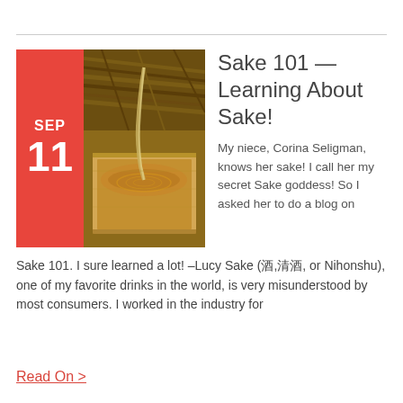[Figure (photo): Photo of sake being poured into a wooden masu cup, with a red date badge showing SEP 11 on the left side]
Sake 101 — Learning About Sake!
My niece, Corina Seligman, knows her sake! I call her my secret Sake goddess! So I asked her to do a blog on Sake 101. I sure learned a lot! –Lucy Sake (酒,清酒, or Nihonshu), one of my favorite drinks in the world, is very misunderstood by most consumers. I worked in the industry for
Read On >